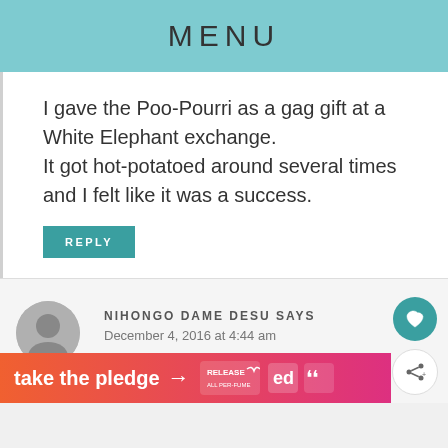MENU
I gave the Poo-Pourri as a gag gift at a White Elephant exchange. It got hot-potatoed around several times and I felt like it was a success.
REPLY
NIHONGO DAME DESU SAYS
December 4, 2016 at 4:44 am
[Figure (infographic): Advertisement banner: take the pledge with arrow, Release logo, and other brand logos]